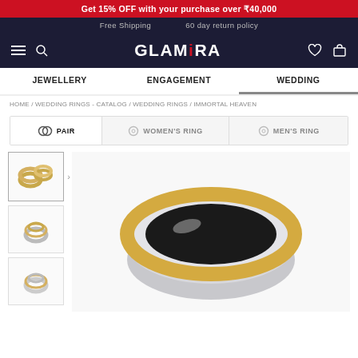Get 15% OFF with your purchase over ₹40,000
Free Shipping   60 day return policy
GLAMIRA
JEWELLERY   ENGAGEMENT   WEDDING
HOME / WEDDING RINGS - CATALOG / WEDDING RINGS / IMMORTAL HEAVEN
PAIR   WOMEN'S RING   MEN'S RING
[Figure (photo): Wedding ring pair thumbnails and main product image showing a two-tone gold and silver wedding band (Immortal Heaven)]